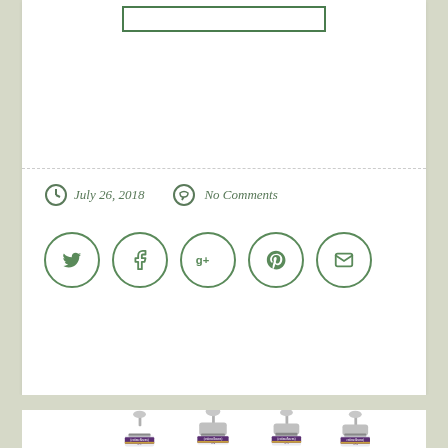[Figure (other): Empty logo placeholder box with green border at top of white card]
July 26, 2018    No Comments
[Figure (other): Social media icon buttons in green circles: Twitter, Facebook, Google+, Pinterest, Email]
[Figure (photo): Four estime&sens branded cosmetic oil spray bottles (N°1, N°2, N°3, N°4) with silver pump tops and purple/gold labels on white background]